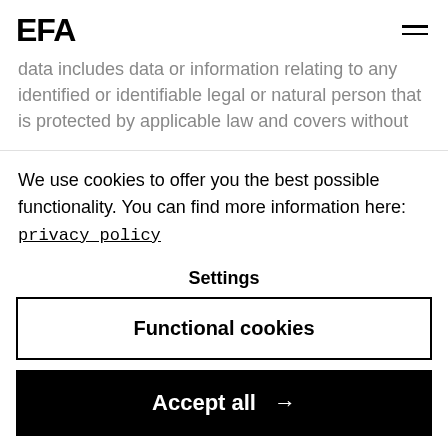EFA
data includes data or information relating to any identified or identifiable legal or natural person that is protected by applicable law and covers without
We use cookies to offer you the best possible functionality. You can find more information here: privacy policy
Settings
Functional cookies
Accept all →